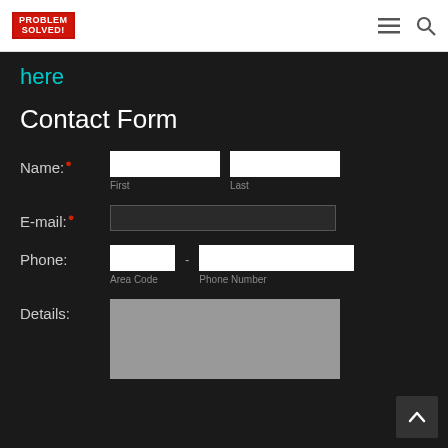PROBLEM SOLVED! [logo] — hamburger menu — search icon
here
Contact Form
Name: [First] [Last]
E-mail:
Phone: [Area Code] [Phone Number]
Details: